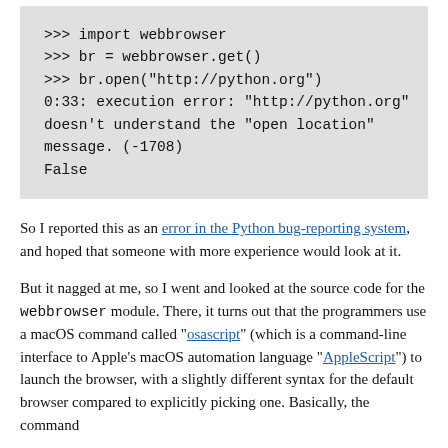[Figure (other): A grey code block showing a Python interactive session with an error message: importing webbrowser, getting a browser instance, opening a URL, then an execution error about 'open location' message (-1708), and returning False.]
So I reported this as an error in the Python bug-reporting system, and hoped that someone with more experience would look at it.
But it nagged at me, so I went and looked at the source code for the webbrowser module. There, it turns out that the programmers use a macOS command called "osascript" (which is a command-line interface to Apple's macOS automation language "AppleScript") to launch the browser, with a slightly different syntax for the default browser compared to explicitly picking one. Basically, the command